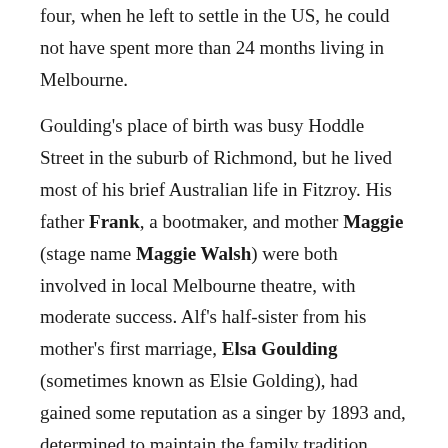four, when he left to settle in the US, he could not have spent more than 24 months living in Melbourne.

Goulding's place of birth was busy Hoddle Street in the suburb of Richmond, but he lived most of his brief Australian life in Fitzroy. His father Frank, a bootmaker, and mother Maggie (stage name Maggie Walsh) were both involved in local Melbourne theatre, with moderate success. Alf's half-sister from his mother's first marriage, Elsa Goulding (sometimes known as Elsie Golding), had gained some reputation as a singer by 1893 and, determined to maintain the family tradition, Frank encouraged his oldest son Frank junior, Alf and later his daughter Irene to go on stage. By the time of Maggie's death in April 1895, Frank junior and Alf had developed a popular act together. Reports from